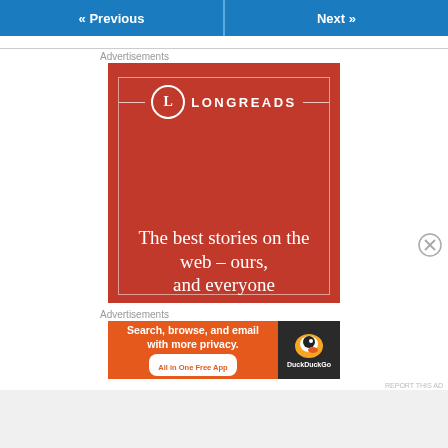« Previous   Next »
Advertisements
[Figure (illustration): Longreads advertisement: red background with white 'L' logo circle, LONGREADS text, decorative border rectangle, and headline 'The best stories on the web – ours, and everyone']
[Figure (illustration): Close/dismiss button (circled X icon) on right side]
Advertisements
[Figure (illustration): DuckDuckGo advertisement: orange left panel with 'Search, browse, and email with more privacy. All in One Free App' and dark right panel with DuckDuckGo duck logo and DuckDuckGo text]